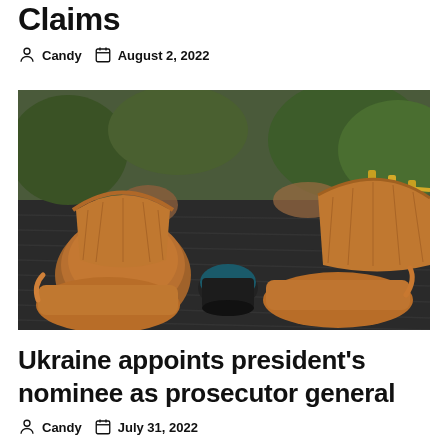Claims
Candy  August 2, 2022
[Figure (photo): Outdoor deck with wicker chairs arranged around a small black cylindrical table, wooden planking floor, greenery in background]
Ukraine appoints president's nominee as prosecutor general
Candy  July 31, 2022